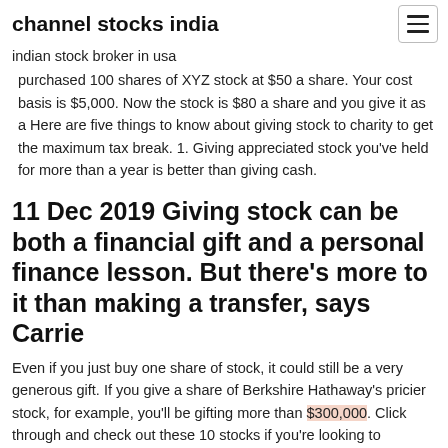channel stocks india
indian stock broker in usa
purchased 100 shares of XYZ stock at $50 a share. Your cost basis is $5,000. Now the stock is $80 a share and you give it as a Here are five things to know about giving stock to charity to get the maximum tax break. 1. Giving appreciated stock you've held for more than a year is better than giving cash.
11 Dec 2019 Giving stock can be both a financial gift and a personal finance lesson. But there's more to it than making a transfer, says Carrie
Even if you just buy one share of stock, it could still be a very generous gift. If you give a share of Berkshire Hathaway's pricier stock, for example, you'll be gifting more than $300,000. Click through and check out these 10 stocks if you're looking to